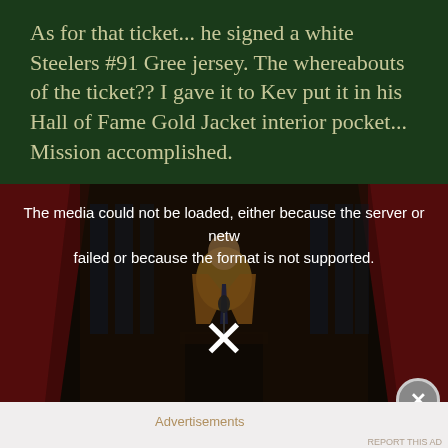As for that ticket... he signed a white Steelers #91 Gree jersey. The whereabouts of the ticket?? I gave it to Kev put it in his Hall of Fame Gold Jacket interior pocket... Mission accomplished.
[Figure (screenshot): Video player showing a man in a gold/tan jacket at a podium, with red curtains in background. Media error overlay: 'The media could not be loaded, either because the server or network failed or because the format is not supported.' A large X symbol is shown in the center. A close (X) button is in the lower right corner.]
Advertisements